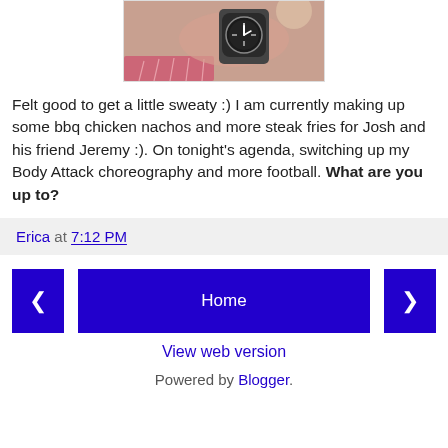[Figure (photo): Close-up photo of a wrist wearing a sport watch, with a pink/red surface in the background]
Felt good to get a little sweaty :) I am currently making up some bbq chicken nachos and more steak fries for Josh and his friend Jeremy :). On tonight's agenda, switching up my Body Attack choreography and more football. What are you up to?
Erica at 7:12 PM
Home (navigation buttons)
View web version
Powered by Blogger.